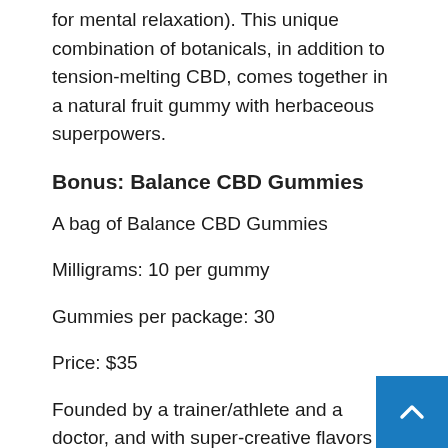lemon balm, and L-theanine (all of which are used for mental relaxation). This unique combination of botanicals, in addition to tension-melting CBD, comes together in a natural fruit gummy with herbaceous superpowers.
Bonus: Balance CBD Gummies
A bag of Balance CBD Gummies
Milligrams: 10 per gummy
Gummies per package: 30
Price: $35
Founded by a trainer/athlete and a doctor, and with super-creative flavors like cotton candy, orange dreamsicle and wildberry, Balance is one of the most unique CBD gummy brands out on the market. When